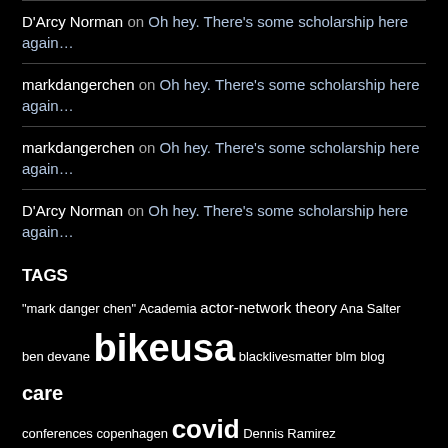D'Arcy Norman on Oh hey. There's some scholarship here again…
markdangerchen on Oh hey. There's some scholarship here again…
markdangerchen on Oh hey. There's some scholarship here again…
D'Arcy Norman on Oh hey. There's some scholarship here again…
TAGS
"mark danger chen" Academia actor-network theory Ana Salter ben devane bikeusa blacklivesmatter blm blog care conferences copenhagen covid Dennis Ramirez distributed cognition dml2010 edlt 728 expertise gameaweek Games Games Research games studies gls2008 google reader icls2008 ir9 ir10 leet noobs mark chen Melissa Peterson mentalhealth MMOG moses wolfenstein pandemic pepperdine roger altizer sara grimes